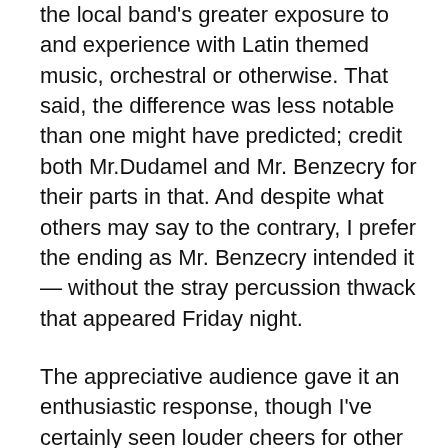the local band's greater exposure to and experience with Latin themed music, orchestral or otherwise.  That said, the difference was less notable than one might have predicted; credit both Mr.Dudamel and Mr. Benzecry for their parts in that.  And despite what others may say to the contrary, I prefer the ending as Mr. Benzecry intended it — without the stray percussion thwack that appeared Friday night.
The appreciative audience gave it an enthusiastic response, though I've certainly seen louder cheers for other World and U.S. premieres given in Disney Hall.  It'll be interesting to see what kind of life Rituales Amerindios has beyond the performances the LA Phil will give it here and in San Francisco.  This is the second piece of Mr. Benzecry that the orchestra has performed (the first being a world premiere in a Green Umbrella